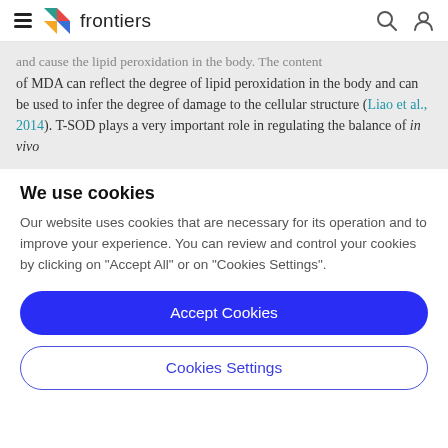frontiers
and cause the lipid peroxidation in the body. The content of MDA can reflect the degree of lipid peroxidation in the body and can be used to infer the degree of damage to the cellular structure (Liao et al., 2014). T-SOD plays a very important role in regulating the balance of in vivo
We use cookies
Our website uses cookies that are necessary for its operation and to improve your experience. You can review and control your cookies by clicking on "Accept All" or on "Cookies Settings".
Accept Cookies
Cookies Settings